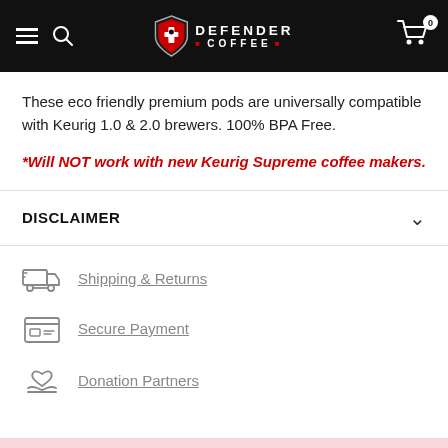Defender Coffee
These eco friendly premium pods are universally compatible with Keurig 1.0 & 2.0 brewers. 100% BPA Free.
*Will NOT work with new Keurig Supreme coffee makers.
DISCLAIMER
Shipping & Returns
Secure Payment
Donation Partners